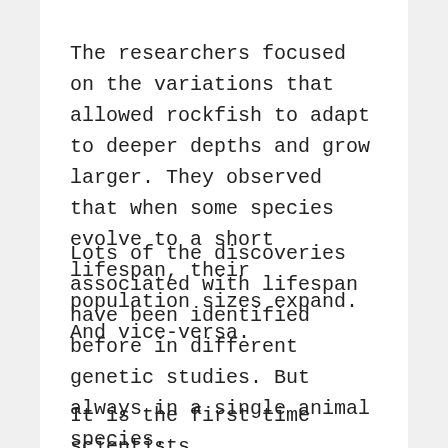The researchers focused on the variations that allowed rockfish to adapt to deeper depths and grow larger. They observed that when some species evolve to a short lifespan, their population sizes expand. And vice-versa.
Lots of the discoveries associated with lifespan have been identified before in different genetic studies. But always in a single animal species.
It is the first time scientists